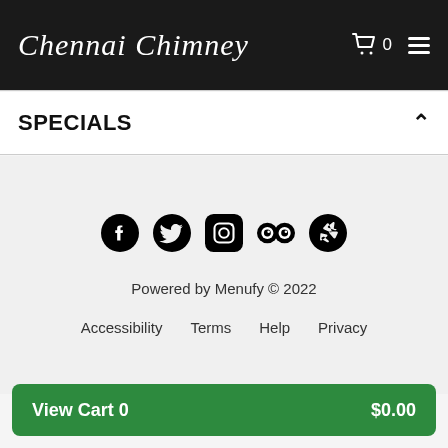Chennai Chimney — 0 (cart)
SPECIALS
[Figure (other): Social media icons: Facebook, Twitter, Instagram, TripAdvisor, Yelp]
Powered by Menufy © 2022
Accessibility  Terms  Help  Privacy
View Cart 0   $0.00